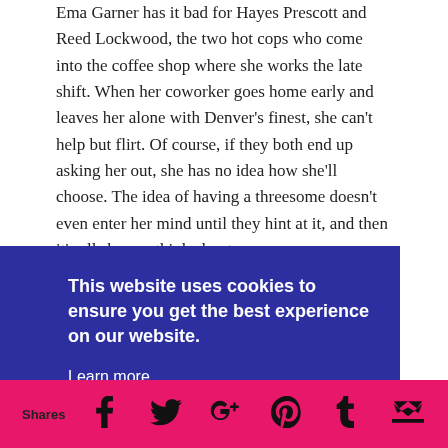Ema Garner has it bad for Hayes Prescott and Reed Lockwood, the two hot cops who come into the coffee shop where she works the late shift. When her coworker goes home early and leaves her alone with Denver's finest, she can't help but flirt. Of course, if they both end up asking her out, she has no idea how she'll choose. The idea of having a threesome doesn't even enter her mind until they hint at it, and then it's all she can think about.
She has the perfect opportunity to take them up on it when
n't be
with
by
This website uses cookies to ensure you get the best experience on our website.
Learn more
Got it!
Shares